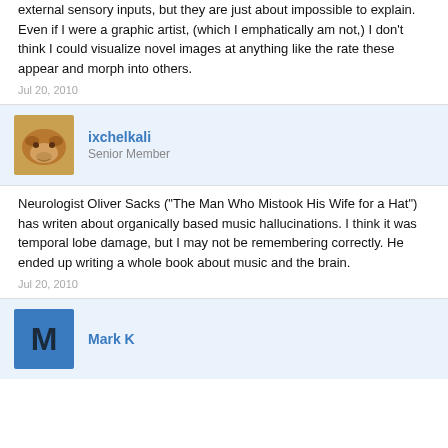external sensory inputs, but they are just about impossible to explain. Even if I were a graphic artist, (which I emphatically am not,) I don't think I could visualize novel images at anything like the rate these appear and morph into others.
Jul 20, 2010
ixchelkali
Senior Member
Neurologist Oliver Sacks ("The Man Who Mistook His Wife for a Hat") has writen about organically based music hallucinations. I think it was temporal lobe damage, but I may not be remembering correctly. He ended up writing a whole book about music and the brain.
Jul 20, 2010
Mark K